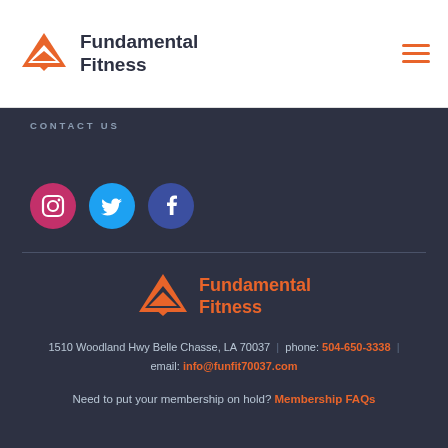Fundamental Fitness
CONTACT US
[Figure (other): Social media icons: Instagram (pink), Twitter (blue), Facebook (dark blue)]
[Figure (logo): Fundamental Fitness logo with orange triangle icon and text]
1510 Woodland Hwy Belle Chasse, LA 70037  |  phone: 504-650-3338  |  email: info@funfit70037.com
Need to put your membership on hold? Membership FAQs